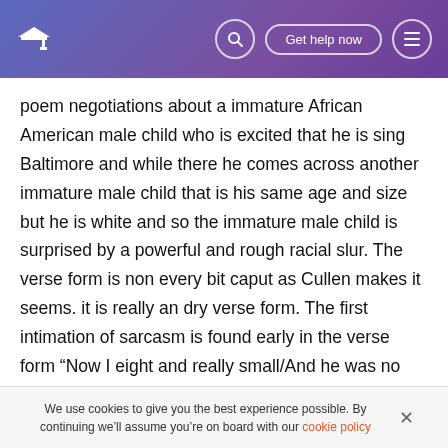Get help now
poem negotiations about a immature African American male child who is excited that he is sing Baltimore and while there he comes across another immature male child that is his same age and size but he is white and so the immature male child is surprised by a powerful and rough racial slur. The verse form is non every bit caput as Cullen makes it seems. it is really an dry verse form. The first intimation of sarcasm is found early in the verse form “Now I eight and really small/And he was no whit bigger” ( 5-6 ) . A reader would believe that the racialist strong-arming would come from person bigger than the child in the verse form when in all
We use cookies to give you the best experience possible. By continuing we’ll assume you’re on board with our cookie policy